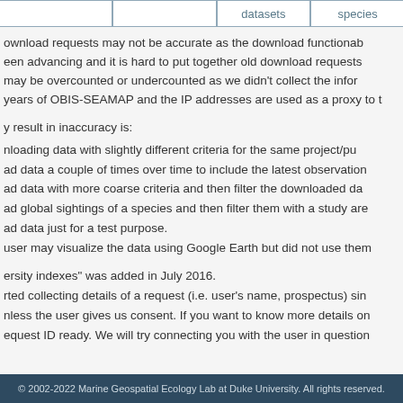|  |  | datasets | species |
| --- | --- | --- | --- |
|  |
Download requests may not be accurate as the download functionality has been advancing and it is hard to put together old download requests. It may be overcounted or undercounted as we didn't collect the info in early years of OBIS-SEAMAP and the IP addresses are used as a proxy to ...
y result in inaccuracy is:
nloading data with slightly different criteria for the same project/pu...
ad data a couple of times over time to include the latest observation...
ad data with more coarse criteria and then filter the downloaded da...
ad global sightings of a species and then filter them with a study are...
ad data just for a test purpose.
user may visualize the data using Google Earth but did not use them...
ersity indexes" was added in July 2016.
rted collecting details of a request (i.e. user’s name, prospectus) sin... nless the user gives us consent. If you want to know more details on... equest ID ready. We will try connecting you with the user in question...
© 2002-2022 Marine Geospatial Ecology Lab at Duke University. All rights reserved.